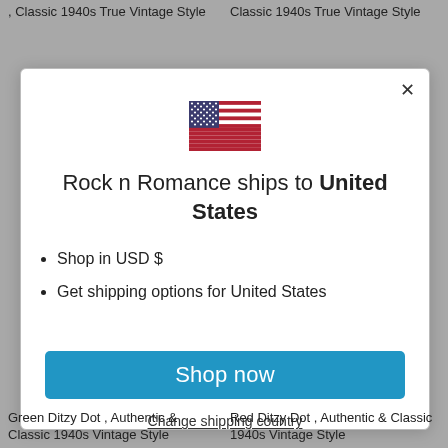, Classic 1940s True Vintage Style
Classic 1940s True Vintage Style
[Figure (screenshot): Modal dialog on a website showing a US flag, text 'Rock n Romance ships to United States', bullet points 'Shop in USD $' and 'Get shipping options for United States', a blue 'Shop now' button, and a 'Change shipping country' link. An X close button is in the top right corner.]
Green Ditzy Dot , Authentic & Classic 1940s Vintage Style
Red Ditzy Dot , Authentic & Classic 1940s Vintage Style